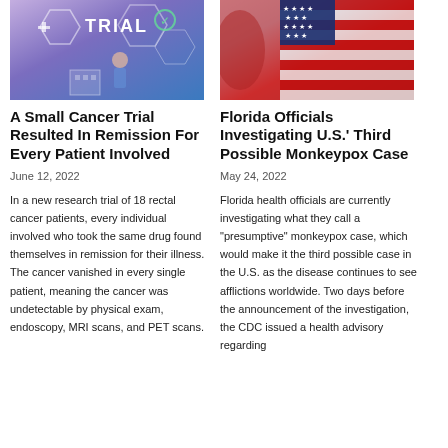[Figure (photo): Clinical trial themed image with blue/purple background showing medical icons and 'TRIAL' text]
[Figure (photo): American flag image with red, white, and blue colors]
A Small Cancer Trial Resulted In Remission For Every Patient Involved
Florida Officials Investigating U.S.' Third Possible Monkeypox Case
June 12, 2022
May 24, 2022
In a new research trial of 18 rectal cancer patients, every individual involved who took the same drug found themselves in remission for their illness. The cancer vanished in every single patient, meaning the cancer was undetectable by physical exam, endoscopy, MRI scans, and PET scans.
Florida health officials are currently investigating what they call a "presumptive" monkeypox case, which would make it the third possible case in the U.S. as the disease continues to see afflictions worldwide. Two days before the announcement of the investigation, the CDC issued a health advisory regarding